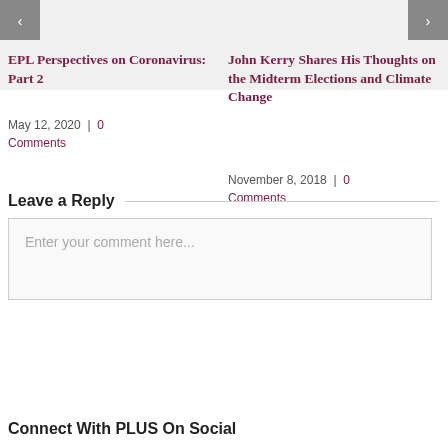EPL Perspectives on Coronavirus: Part 2
May 12, 2020  |  0 Comments
John Kerry Shares His Thoughts on the Midterm Elections and Climate Change
November 8, 2018  |  0 Comments
Leave a Reply
Enter your comment here...
Connect With PLUS On Social